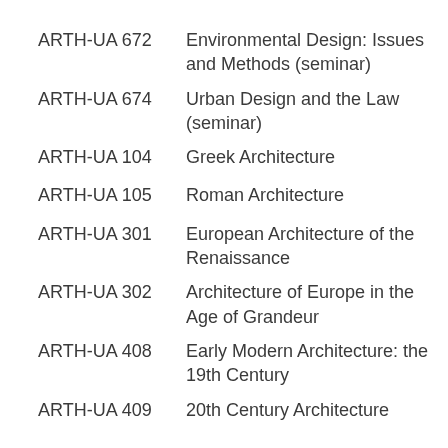ARTH-UA 672   Environmental Design: Issues and Methods (seminar)
ARTH-UA 674   Urban Design and the Law (seminar)
ARTH-UA 104   Greek Architecture
ARTH-UA 105   Roman Architecture
ARTH-UA 301   European Architecture of the Renaissance
ARTH-UA 302   Architecture of Europe in the Age of Grandeur
ARTH-UA 408   Early Modern Architecture: the 19th Century
ARTH-UA 409   20th Century Architecture